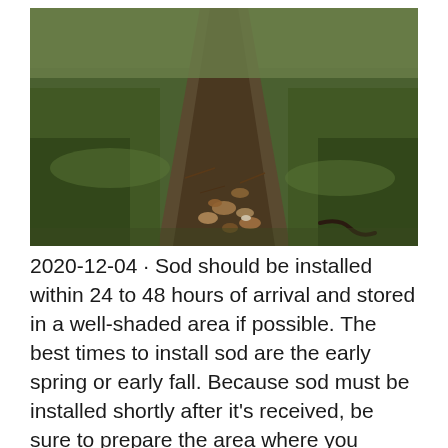[Figure (photo): Outdoor photograph of a narrow dirt path running through lush green grass/moss, with fallen leaves and twigs scattered on the ground, taken from a low angle perspective looking along the path into the distance.]
2020-12-04 · Sod should be installed within 24 to 48 hours of arrival and stored in a well-shaded area if possible. The best times to install sod are the early spring or early fall. Because sod must be installed shortly after it's received, be sure to prepare the area where you intend to lay the sod. Labor Cost To Install Sod Expect to pay about 158% of the cost of